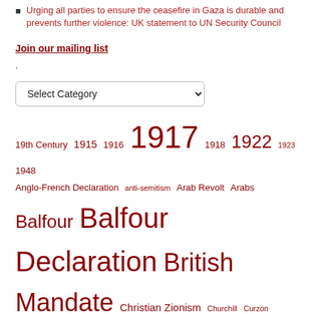Urging all parties to ensure the ceasefire in Gaza is durable and prevents further violence: UK statement to UN Security Council
Join our mailing list
.
[Figure (other): Select Category dropdown menu]
19th Century 1915 1916 1917 1918 1922 1923 1948 Anglo-French Declaration anti-semitism Arab Revolt Arabs Balfour Balfour Declaration British Mandate Christian Zionism Churchill Curzon First World War Gaza Herzl Hussein Ibn Ali International Law Israel Jew League of Nations Lloyd George Lord Curzon McMahon McMahon Hussain Middle East Montagu Palestine Palestine Mandate Picot Recognition of Palestine restorationism Rothschild Sacred Trust of civilisation Shaftesbury Sherif Hussein Sykes Sykes Picot Weizmann Zionism
Balfour Declaration Scottish Church: Holyrood passed Scots...